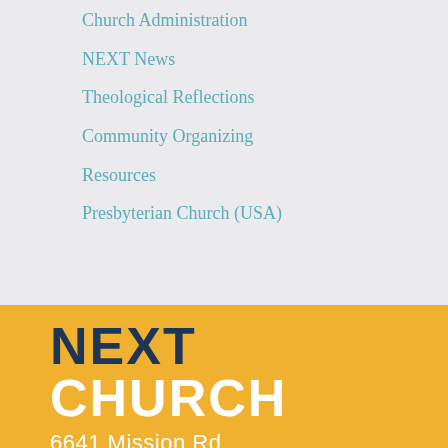Church Administration
NEXT News
Theological Reflections
Community Organizing
Resources
Presbyterian Church (USA)
NEXT CHURCH
6641 Mission Rd